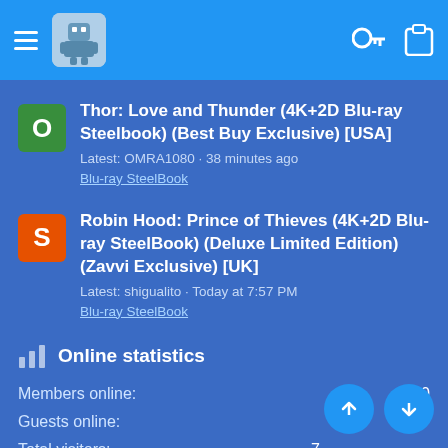App navigation header with hamburger menu, avatar, key icon, and clipboard icon
Thor: Love and Thunder (4K+2D Blu-ray Steelbook) (Best Buy Exclusive) [USA]
Latest: OMRA1080 · 38 minutes ago
Blu-ray SteelBook
Robin Hood: Prince of Thieves (4K+2D Blu-ray SteelBook) (Deluxe Limited Edition) (Zavvi Exclusive) [UK]
Latest: shigualito · Today at 7:57 PM
Blu-ray SteelBook
Online statistics
Members online: 50
Guests online: 317
Total visitors: 7